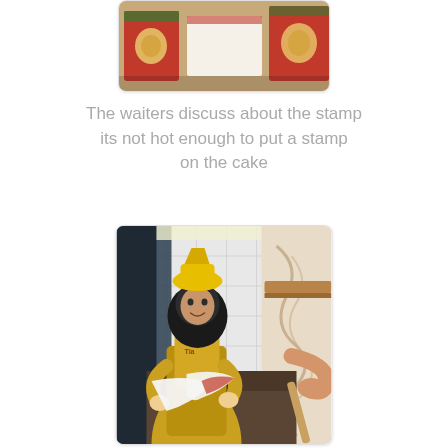[Figure (photo): Partial photo at top showing what appears to be food packaging or cake boxes, cropped at the top of the frame.]
The waiters discuss about the stamp its not hot enough to put a stamp on the cake
[Figure (photo): A woman wearing a yellow hat and yellow apron with a black hijab stands behind a counter, handling white and red paper packaging. A wooden shelf and tiled wall are visible in the background.]